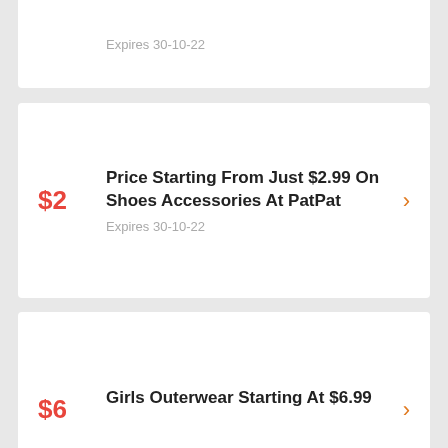Expires 30-10-22
$2
Price Starting From Just $2.99 On Shoes Accessories At PatPat
Expires 30-10-22
$6
Girls Outerwear Starting At $6.99
Expires 30-10-22